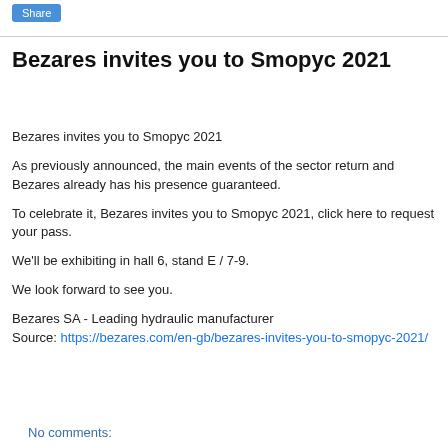Share
Bezares invites you to Smopyc 2021
Bezares invites you to Smopyc 2021
As previously announced, the main events of the sector return and Bezares already has his presence guaranteed.
To celebrate it, Bezares invites you to Smopyc 2021, click here to request your pass.
We'll be exhibiting in hall 6, stand E / 7-9.
We look forward to see you.
Bezares SA - Leading hydraulic manufacturer
Source: https://bezares.com/en-gb/bezares-invites-you-to-smopyc-2021/
No comments: